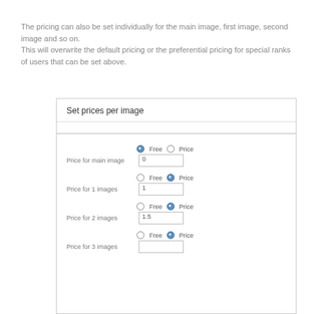The pricing can also be set individually for the main image, first image, second image and so on.
This will overwrite the default pricing or the preferential pricing for special ranks of users that can be set above.
[Figure (screenshot): A form panel titled 'Set prices per image' with rows for Price for main image (Free/Price radio, value 0), Price for 1 images (Free/Price radio, value 1), Price for 2 images (Free/Price radio, value 1.5), Price for 3 images (Free/Price radio, partially visible)]